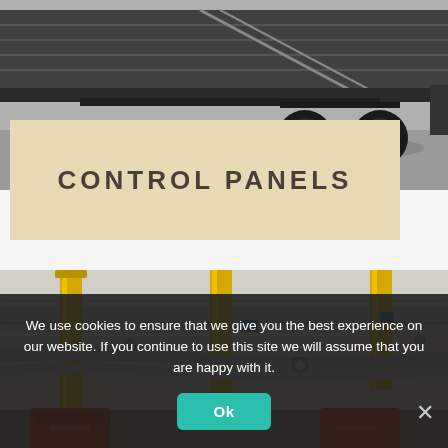[Figure (photo): Industrial flatbed trailer/transport vehicle photographed from below/side angle, showing wheels and undercarriage on pavement]
CONTROL PANELS
[Figure (photo): Industrial facility interior showing complex pipe systems with yellow vertical pipes, silver insulated pipes and various fittings overhead]
We use cookies to ensure that we give you the best experience on our website. If you continue to use this site we will assume that you are happy with it.